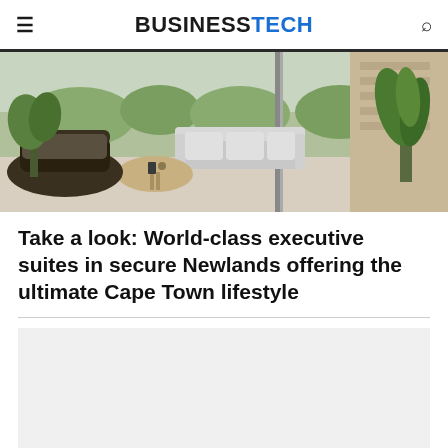BUSINESSTECH
[Figure (photo): Interior photo of a luxury apartment terrace with modern outdoor furniture, sofa, coffee table, green plants, and a panoramic city view through large glass doors]
Take a look: World-class executive suites in secure Newlands offering the ultimate Cape Town lifestyle
[Figure (other): Advertisement placeholder box with light grey background]